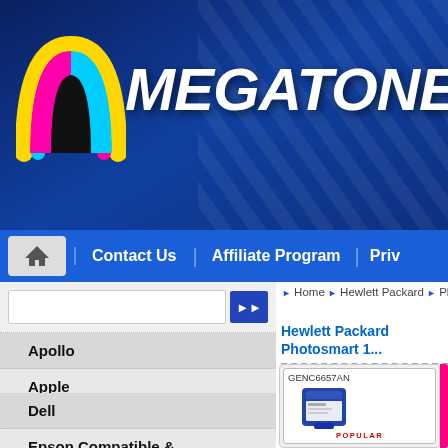[Figure (logo): MegaToners logo with colorful M lettermark and white italic MEGATONERS text on dark blue banner background]
Contact Us | Affiliate Program | Priv
Home > Hewlett Packard > Photosmart 13...
Hewlett Packard Photosmart 1...
Apollo
Apple
Brother
Cables
Canon
Compaq
Dell
Epson Compatible &
[Figure (photo): Product photo of GENC6657AN ink cartridge with POPULAR label below it]